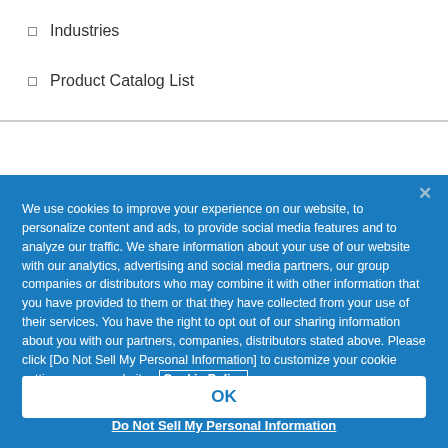Industries
Product Catalog List
We use cookies to improve your experience on our website, to personalize content and ads, to provide social media features and to analyze our traffic. We share information about your use of our website with our analytics, advertising and social media partners, our group companies or distributors who may combine it with other information that you have provided to them or that they have collected from your use of their services. You have the right to opt out of our sharing information about you with our partners, companies, distributors stated above. Please click [Do Not Sell My Personal Information] to customize your cookie settings on our website. Cookie Policy
OK
Do Not Sell My Personal Information